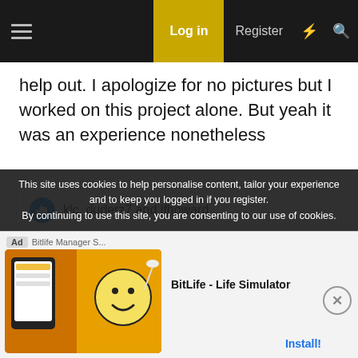Log in | Register
help out. I apologize for no pictures but I worked on this project alone. But yeah it was an experience nonetheless
klc, duderz7 and lfhoward
This site uses cookies to help personalise content, tailor your experience and to keep you logged in if you register.
By continuing to use this site, you are consenting to our use of cookies.
[Figure (screenshot): BitLife - Life Simulator advertisement banner with colorful game imagery and Install button]